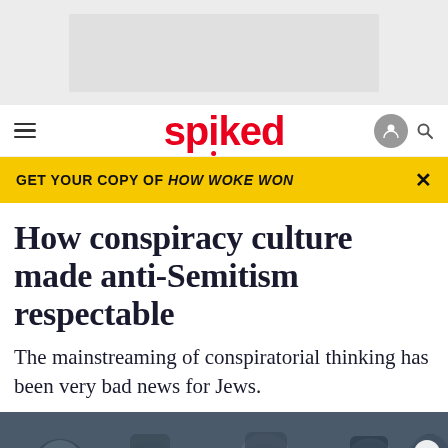[Figure (other): Grey advertisement placeholder banner at top of page]
spiked
GET YOUR COPY OF HOW WOKE WON
How conspiracy culture made anti-Semitism respectable
The mainstreaming of conspiratorial thinking has been very bad news for Jews.
[Figure (photo): Crowd of people wearing winter hats and coats outdoors]
ABOUT   PRIVACY   MANAGE PRIVACY   TERMS